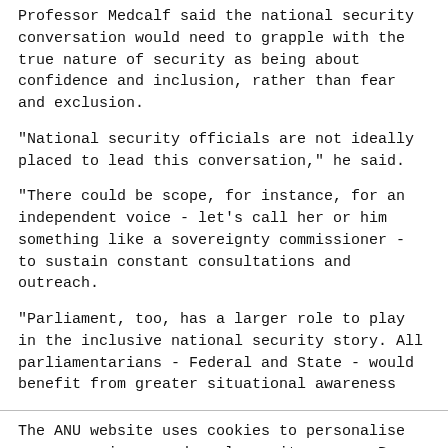Professor Medcalf said the national security conversation would need to grapple with the true nature of security as being about confidence and inclusion, rather than fear and exclusion.
"National security officials are not ideally placed to lead this conversation," he said.
"There could be scope, for instance, for an independent voice - let's call her or him something like a sovereignty commissioner - to sustain constant consultations and outreach.
"Parliament, too, has a larger role to play in the inclusive national security story. All parliamentarians - Federal and State - would benefit from greater situational awareness
The ANU website uses cookies to personalise your experience and analyse site usage. By proceeding, you consent to our use of cookies. Personal